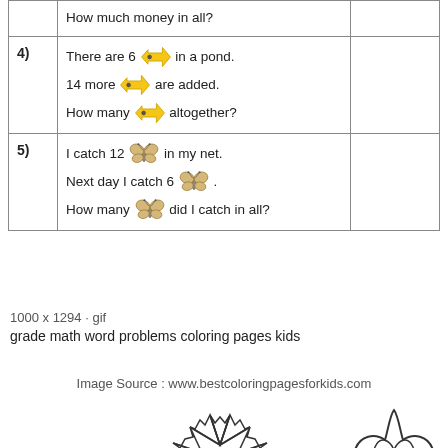| # | Problem | Answer |
| --- | --- | --- |
|  | How much money in all? |  |
| 4) | There are 6 [fish] in a pond.
14 more [fish] are added.
How many [fish] altogether? |  |
| 5) | I catch 12 [butterfly] in my net.
Next day I catch 6 [butterfly].
How many [butterfly] did I catch in all? |  |
1000 x 1294 · gif
grade math word problems coloring pages kids
Image Source : www.bestcoloringpagesforkids.com
[Figure (illustration): Outline drawing of a sun with rays]